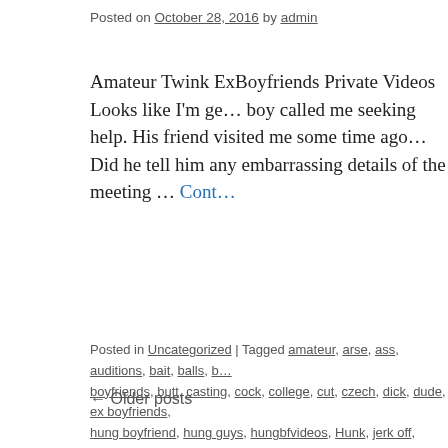Posted on October 28, 2016 by admin
Amateur Twink ExBoyfriends Private Videos Looks like I'm ge… boy called me seeking help. His friend visited me some time ago… Did he tell him any embarrassing details of the meeting … Cont…
Posted in Uncategorized | Tagged amateur, arse, ass, auditions, bait, balls, b… boyfriends, butt, casting, cock, college, cut, czech, dick, dude, ex boyfriends, hung boyfriend, hung guys, hungbfvideos, Hunk, jerk off, leaked, locker room… pictures, porn, prague, private, seducing, selfshot, sex, shower, smooth, solo… twink bf videos, twinks, twnik sex, uncut, user submitted, video, videos, wank…
← Older posts